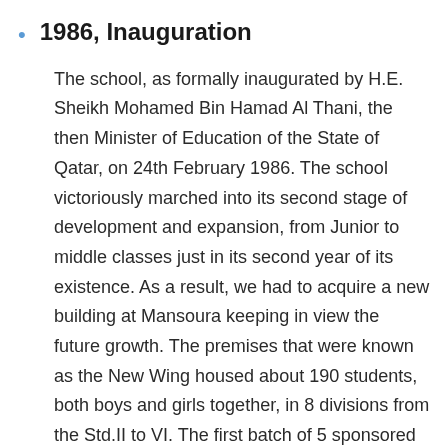1986, Inauguration
The school, as formally inaugurated by H.E. Sheikh Mohamed Bin Hamad Al Thani, the then Minister of Education of the State of Qatar, on 24th February 1986. The school victoriously marched into its second stage of development and expansion, from Junior to middle classes just in its second year of its existence. As a result, we had to acquire a new building at Mansoura keeping in view the future growth. The premises that were known as the New Wing housed about 190 students, both boys and girls together, in 8 divisions from the Std.II to VI. The first batch of 5 sponsored teachers landed in Doha on the 11th September and joined the school the very next day. In November, Mr.G.M.Khan took charge of the school as the first sponsored Principal. By the end of this year the school